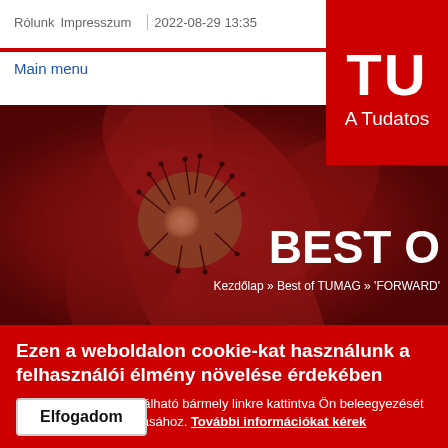Rólunk  Impresszum  |  2022-08-29 13:35
TU
A Tudatos
Main menu
[Figure (photo): Close-up of a dark red flower center with stamens and pistils, used as hero/banner image. Overlaid text reads 'BEST O' and breadcrumb 'Kezdőlap » Best of TUMAG » 'FORWARD'']
Ezen a weboldalon cookie-kat használunk a felhasználói élmény növelése érdekében
Az ezen az oldalon található bármely linkre kattintva Ön beleegyezését adja a cookie-k beállításához. További információkat kérek
Elfogadom